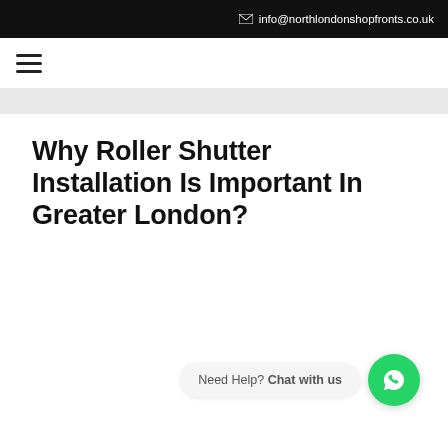info@northlondonshopfronts.co.uk
Why Roller Shutter Installation Is Important In Greater London?